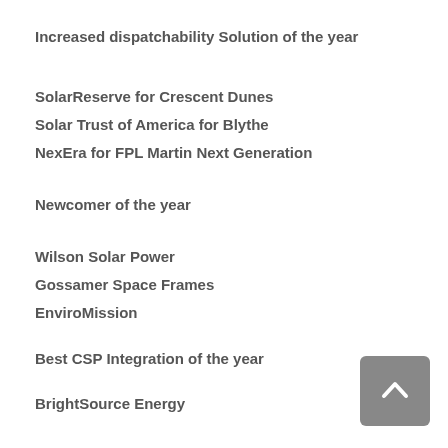Increased dispatchability Solution of the year
SolarReserve for Crescent Dunes
Solar Trust of America for Blythe
NexEra for FPL Martin Next Generation
Newcomer of the year
Wilson Solar Power
Gossamer Space Frames
EnviroMission
Best CSP Integration of the year
BrightSource Energy
Siemens STE
NextEra Energy
CSP Technological Suppliers of the year
SCHOTT